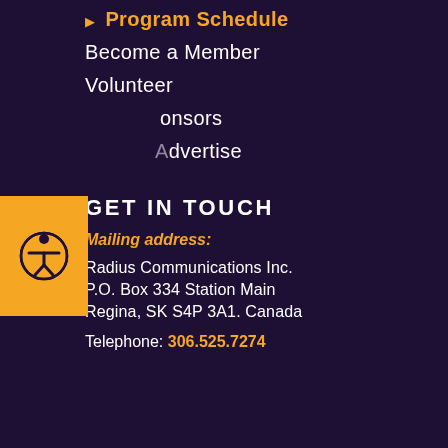▶ Program Schedule
Become a Member
Volunteer
Sponsors
Advertise
[Figure (illustration): Orange accessibility icon button with person/wheelchair symbol]
GET IN TOUCH
Mailing address:
Radius Communications Inc.
P.O. Box 334 Station Main
Regina, SK S4P 3A1. Canada
Telephone: 306.525.7274